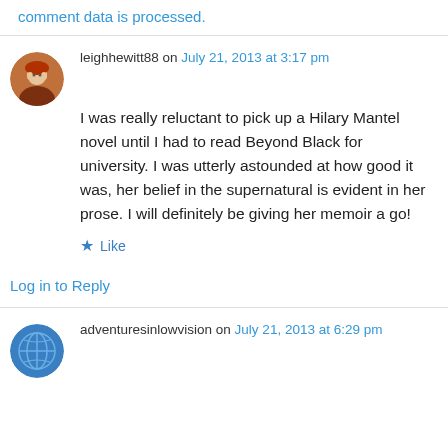comment data is processed.
leighhewitt88 on July 21, 2013 at 3:17 pm
I was really reluctant to pick up a Hilary Mantel novel until I had to read Beyond Black for university. I was utterly astounded at how good it was, her belief in the supernatural is evident in her prose. I will definitely be giving her memoir a go!
Like
Log in to Reply
adventuresinlowvision on July 21, 2013 at 6:29 pm